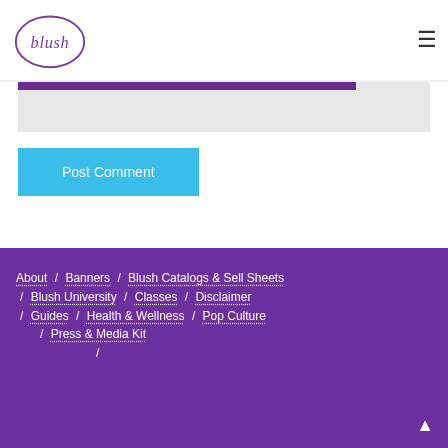[Figure (logo): Blush brand logo — oval outline in purple with the word 'blush' inside in purple handwriting-style font]
Post Comment
About / Banners / Blush Catalogs & Sell Sheets / Blush University / Classes / Disclaimer / Guides / Health & Wellness / Pop Culture / Press & Media Kit /